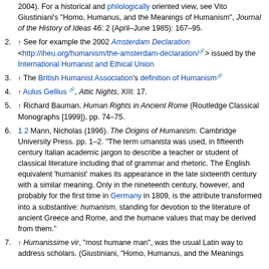(continuation) 2004). For a historical and philologically oriented view, see Vito Giustiniani's "Homo, Humanus, and the Meanings of Humanism", Journal of the History of Ideas 46: 2 (April–June 1985): 167–95.
2. ↑ See for example the 2002 Amsterdam Declaration <http://iheu.org/humanism/the-amsterdam-declaration/> issued by the International Humanist and Ethical Union
3. ↑ The British Humanist Association's definition of Humanism
4. ↑ Aulus Gellius, Attic Nights, XIII: 17.
5. ↑ Richard Bauman, Human Rights in Ancient Rome (Routledge Classical Monographs [1999]), pp. 74–75.
6. 1 2 Mann, Nicholas (1996). The Origins of Humanism. Cambridge University Press. pp. 1–2. "The term umanista was used, in fifteenth century Italian academic jargon to describe a teacher or student of classical literature including that of grammar and rhetoric. The English equivalent 'humanist' makes its appearance in the late sixteenth century with a similar meaning. Only in the nineteenth century, however, and probably for the first time in Germany in 1809, is the attribute transformed into a substantive: humanism, standing for devotion to the literature of ancient Greece and Rome, and the humane values that may be derived from them."
7. ↑ Humanissime vir, "most humane man", was the usual Latin way to address scholars. (Giustiniani, "Homo, Humanus, and the Meanings